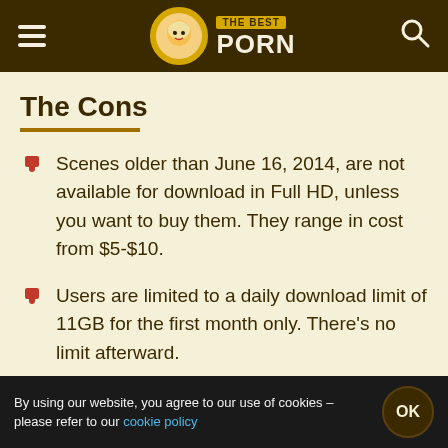THE BEST PORN
The Cons
Scenes older than June 16, 2014, are not available for download in Full HD, unless you want to buy them. They range in cost from $5-$10.
Users are limited to a daily download limit of 11GB for the first month only. There's no limit afterward.
There's 1 pre-checked cross-sale on the POS page
By using our website, you agree to our use of cookies – please refer to our cookie policy